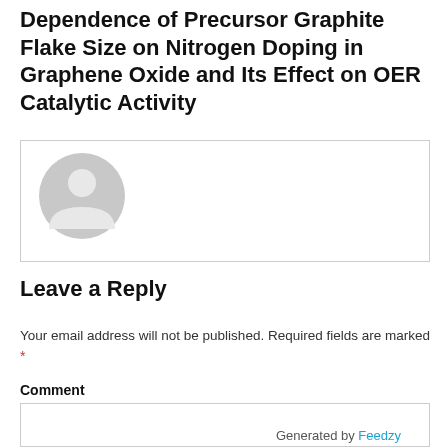Dependence of Precursor Graphite Flake Size on Nitrogen Doping in Graphene Oxide and Its Effect on OER Catalytic Activity
[Figure (illustration): Default avatar/profile icon — a gray silhouette of a person (circular head and shoulders) inside a bordered box]
Leave a Reply
Your email address will not be published. Required fields are marked *
Comment
Generated by Feedzy